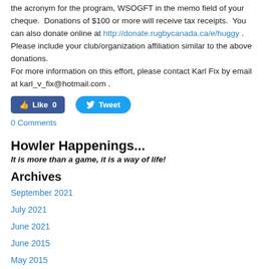the acronym for the program, WSOGFT in the memo field of your cheque. Donations of $100 or more will receive tax receipts. You can also donate online at http://donate.rugbycanada.ca/e/huggy . Please include your club/organization affiliation similar to the above donations.
For more information on this effort, please contact Karl Fix by email at karl_v_fix@hotmail.com .
[Figure (screenshot): Facebook Like button showing 0 likes and Twitter Tweet button]
0 Comments
Howler Happenings...
It is more than a game, it is a way of life!
Archives
September 2021
July 2021
June 2021
June 2015
May 2015